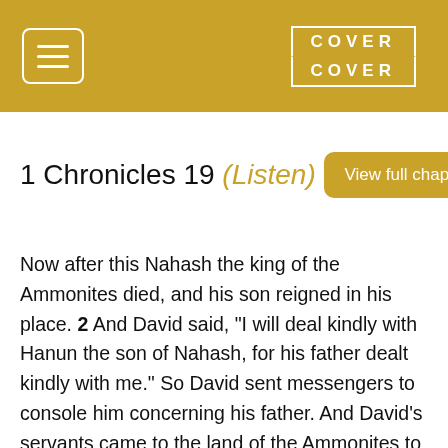COVER COVER
1 Chronicles 19 (Listen)
Now after this Nahash the king of the Ammonites died, and his son reigned in his place. 2 And David said, "I will deal kindly with Hanun the son of Nahash, for his father dealt kindly with me." So David sent messengers to console him concerning his father. And David's servants came to the land of the Ammonites to Hanun to console him. 3 But the princes of the Ammonites said to Hanun, "Do you think, because David has sent comforters to you, that he is honoring your father? Have